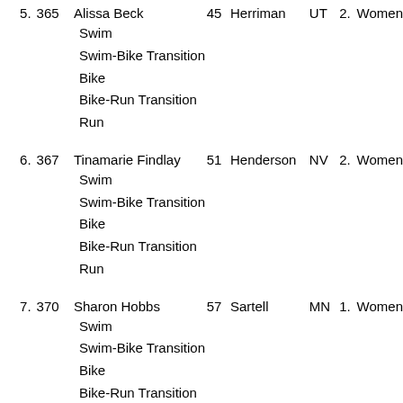5. 365 Alissa Beck 45 Herriman UT 2. Women
Swim
Swim-Bike Transition
Bike
Bike-Run Transition
Run
6. 367 Tinamarie Findlay 51 Henderson NV 2. Women
Swim
Swim-Bike Transition
Bike
Bike-Run Transition
Run
7. 370 Sharon Hobbs 57 Sartell MN 1. Women
Swim
Swim-Bike Transition
Bike
Bike-Run Transition